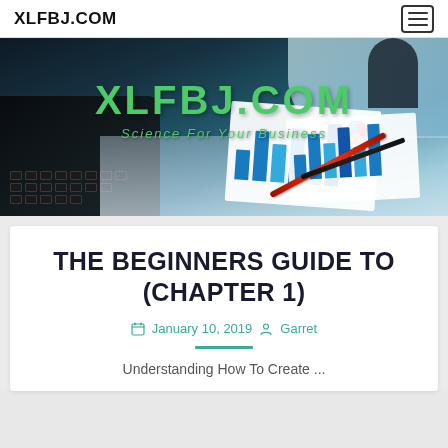XLFBJ.COM
[Figure (photo): Business desk with laptop keyboard, financial charts and graphs on papers, pen and pencil. Overlay text: XLFBJ.COM and Science For Your Business]
THE BEGINNERS GUIDE TO (CHAPTER 1)
January 10, 2019  Garret
Understanding How To Create ...